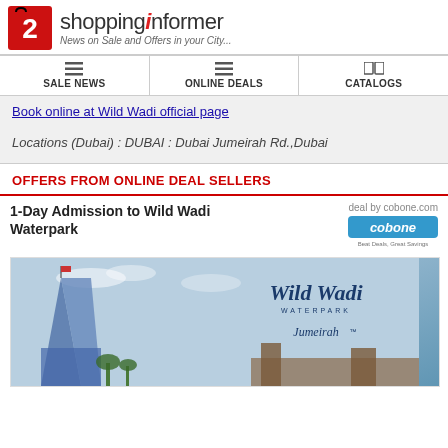shoppinginformer — News on Sale and Offers in your City...
SALE NEWS | ONLINE DEALS | CATALOGS
Book online at Wild Wadi official page
Locations (Dubai) : DUBAI : Dubai Jumeirah Rd.,Dubai
OFFERS FROM ONLINE DEAL SELLERS
1-Day Admission to Wild Wadi Waterpark — deal by cobone.com
[Figure (photo): Wild Wadi Waterpark promotional image showing Jumeirah hotel tower and Wild Wadi Waterpark logo with Jumeirah branding]